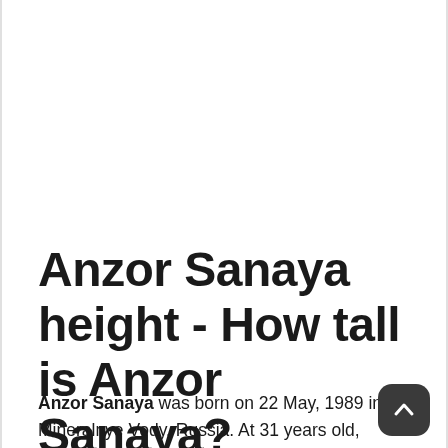Anzor Sanaya height - How tall is Anzor Sanaya?
Anzor Sanaya was born on 22 May, 1989 in Mineralnyе Vody, Russia. At 31 years old, Anzor Sanaya height is 6